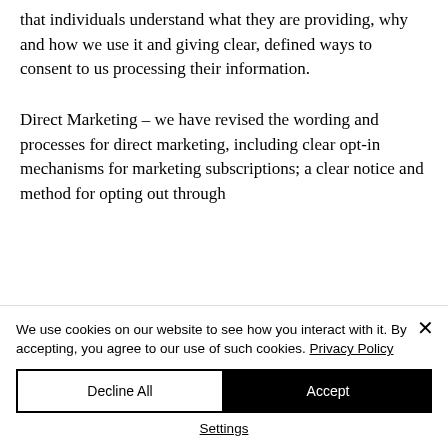that individuals understand what they are providing, why and how we use it and giving clear, defined ways to consent to us processing their information.
Direct Marketing – we have revised the wording and processes for direct marketing, including clear opt-in mechanisms for marketing subscriptions; a clear notice and method for opting out through
We use cookies on our website to see how you interact with it. By accepting, you agree to our use of such cookies. Privacy Policy
Decline All
Accept
Settings